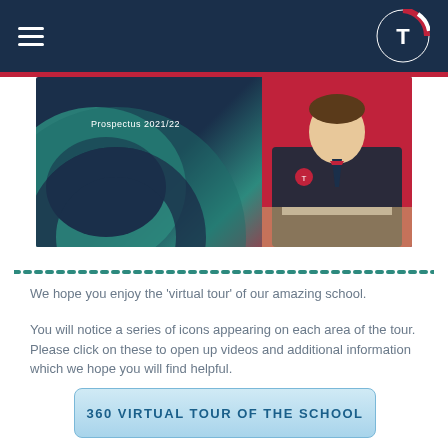Navigation bar with hamburger menu and school logo (T)
[Figure (photo): School prospectus cover image 2021/22 showing abstract curved shapes in teal, dark navy, and red alongside a student in school uniform writing at a desk]
We hope you enjoy the 'virtual tour' of our amazing school.
You will notice a series of icons appearing on each area of the tour. Please click on these to open up videos and additional information which we hope you will find helpful.
360 VIRTUAL TOUR OF THE SCHOOL